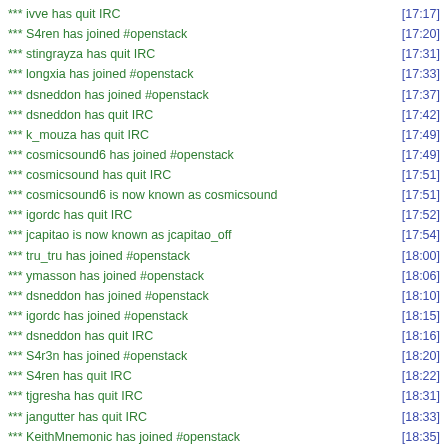*** ivve has quit IRC [17:17]
*** S4ren has joined #openstack [17:20]
*** stingrayza has quit IRC [17:31]
*** longxia has joined #openstack [17:33]
*** dsneddon has joined #openstack [17:37]
*** dsneddon has quit IRC [17:42]
*** k_mouza has quit IRC [17:49]
*** cosmicsound6 has joined #openstack [17:49]
*** cosmicsound has quit IRC [17:51]
*** cosmicsound6 is now known as cosmicsound [17:51]
*** igordc has quit IRC [17:52]
*** jcapitao is now known as jcapitao_off [17:54]
*** tru_tru has joined #openstack [18:00]
*** ymasson has joined #openstack [18:06]
*** dsneddon has joined #openstack [18:10]
*** igordc has joined #openstack [18:15]
*** dsneddon has quit IRC [18:16]
*** S4r3n has joined #openstack [18:20]
*** S4ren has quit IRC [18:22]
*** tjgresha has quit IRC [18:31]
*** jangutter has quit IRC [18:33]
*** KeithMnemonic has joined #openstack [18:35]